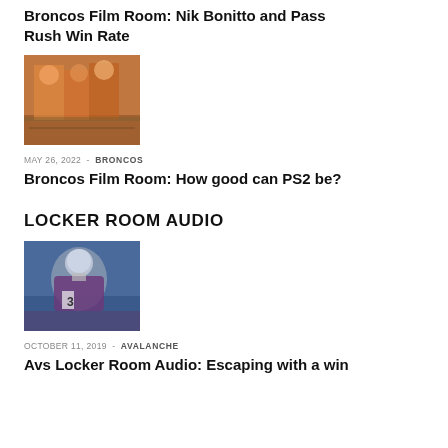Broncos Film Room: Nik Bonitto and Pass Rush Win Rate
[Figure (photo): Football players in orange Broncos uniforms on the field]
MAY 26, 2022 - BRONCOS
Broncos Film Room: How good can PS2 be?
LOCKER ROOM AUDIO
[Figure (photo): Hockey goalie in Colorado Avalanche uniform wearing jersey number 3]
OCTOBER 11, 2019 - AVALANCHE
Avs Locker Room Audio: Escaping with a win